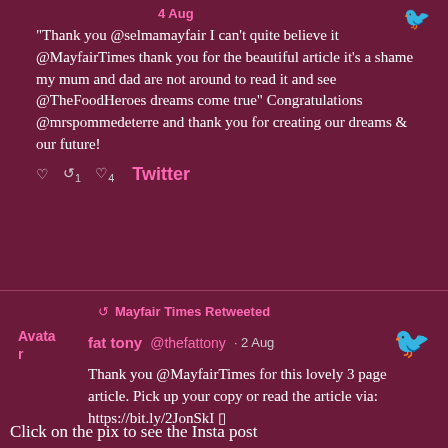4 Aug
"Thank you @selmamayfair I can’t quite believe it @MayfairTimes thank you for the beautiful article it’s a shame my mum and dad are not around to read it and see @TheFoodHeroes dreams come true” Congratulations @mrspommedeterre and thank you for creating our dreams & our future!
Twitter
Mayfair Times Retweeted
Avata r
fat tony  @thefattony  ·  2 Aug
Thank you @MayfairTimes for this lovely 3 page article. Pick up your copy or read the article via: https://bit.ly/2JonSkI ▯
Click on the pix to see the Insta post